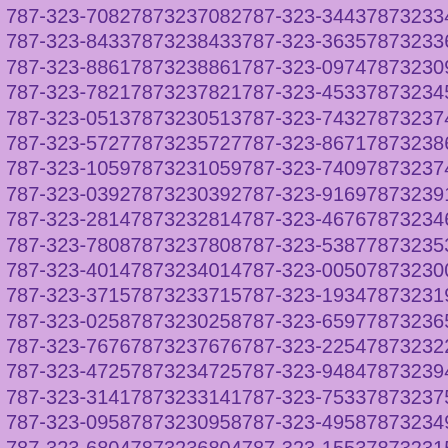| 787-323-7082 | 7873237082 | 787-323-3443 | 7873233443 |
| 787-323-8433 | 7873238433 | 787-323-3635 | 7873233635 |
| 787-323-8861 | 7873238861 | 787-323-0974 | 7873230974 |
| 787-323-7821 | 7873237821 | 787-323-4533 | 7873234533 |
| 787-323-0513 | 7873230513 | 787-323-7432 | 7873237432 |
| 787-323-5727 | 7873235727 | 787-323-8671 | 7873238671 |
| 787-323-1059 | 7873231059 | 787-323-7409 | 7873237409 |
| 787-323-0392 | 7873230392 | 787-323-9169 | 7873239169 |
| 787-323-2814 | 7873232814 | 787-323-4676 | 7873234676 |
| 787-323-7808 | 7873237808 | 787-323-5387 | 7873235387 |
| 787-323-4014 | 7873234014 | 787-323-0050 | 7873230050 |
| 787-323-3715 | 7873233715 | 787-323-1934 | 7873231934 |
| 787-323-0258 | 7873230258 | 787-323-6597 | 7873236597 |
| 787-323-7676 | 7873237676 | 787-323-2254 | 7873232254 |
| 787-323-4725 | 7873234725 | 787-323-9484 | 7873239484 |
| 787-323-3141 | 7873233141 | 787-323-7533 | 7873237533 |
| 787-323-0958 | 7873230958 | 787-323-4958 | 7873234958 |
| 787-323-6804 | 7873236804 | 787-323-1553 | 7873231553 |
| 787-323-0502 | 7873230502 | 787-323-9489 | 7873239489 |
| 787-323-3380 | 7873233380 | 787-323-2385 | 7873232385 |
| 787-323-9849 | 7873239849 | 787-323-5948 | 7873235948 |